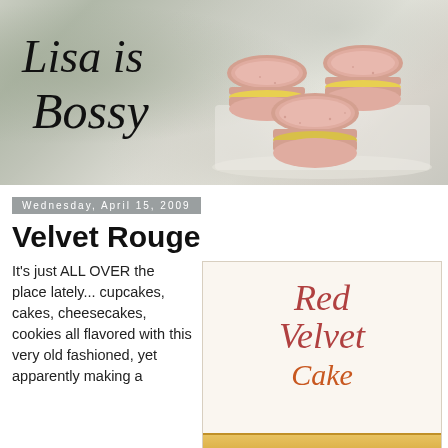[Figure (photo): Blog header banner showing pink macarons with yellow cream filling stacked on a white plate, with cursive text 'Lisa is Bossy' overlaid on the left side. Background is blurred outdoor scene.]
Wednesday, April 15, 2009
Velvet Rouge
It's just ALL OVER the place lately... cupcakes, cakes, cheesecakes, cookies all flavored with this very old fashioned, yet apparently making a
[Figure (photo): Image of a Red Velvet Cake book or recipe card with decorative script text 'Red Velvet Cake' in burgundy/red cursive lettering, with a slice of cake visible at the bottom.]